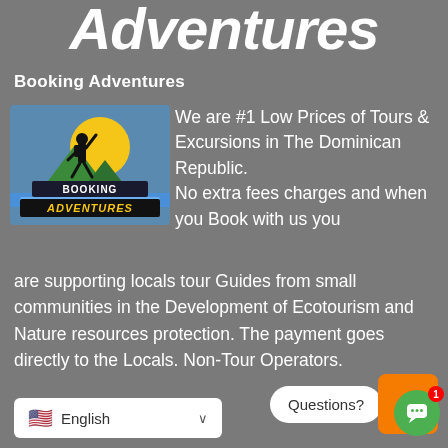Adventures
Booking Adventures
[Figure (logo): Booking Adventures logo with hiker silhouette against yellow sun, green mountains, blue water, and stylized text 'BOOKING ADVENTURES']
We are #1 Low Prices of Tours & Excursions in The Dominican Republic. No extra fees charges and when you Book with us you are supporting locals tour Guides from small communities in the Development of Ecotourism and Nature resources protection. The payment goes directly to the Locals. Non-Tour Operators.
[Figure (screenshot): Questions? chat bubble widget with orange square background, green circle chat button, and notification badge showing 1]
English